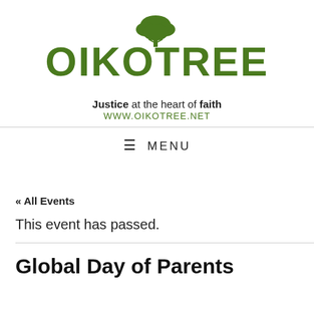[Figure (logo): Oikotree logo with tree illustration, tagline 'Justice at the heart of faith' and website www.oikotree.net]
≡ MENU
« All Events
This event has passed.
Global Day of Parents